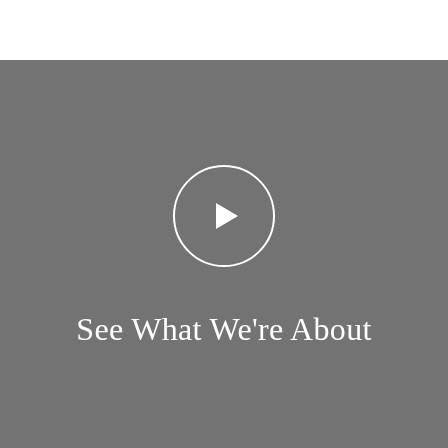[Figure (other): Gray video thumbnail placeholder with a white circle play button icon in the center, and the text 'See What We're About' below it in white serif font on a gray background.]